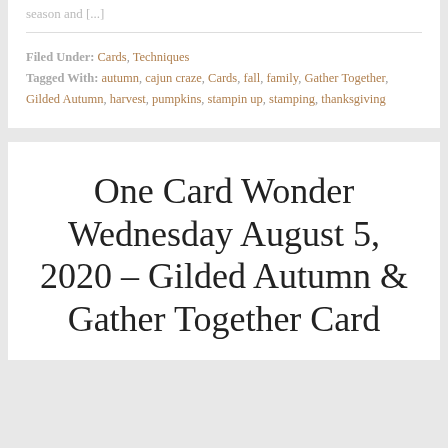season and [...]
Filed Under: Cards, Techniques
Tagged With: autumn, cajun craze, Cards, fall, family, Gather Together, Gilded Autumn, harvest, pumpkins, stampin up, stamping, thanksgiving
One Card Wonder Wednesday August 5, 2020 – Gilded Autumn & Gather Together Card